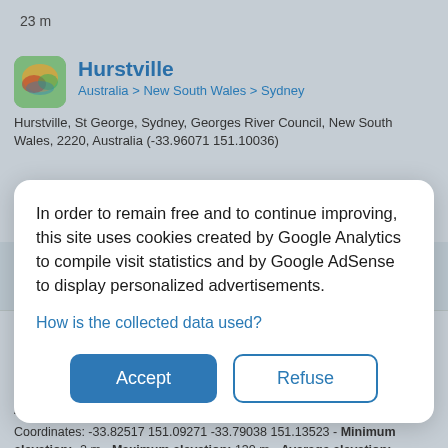23 m
Hurstville
Australia > New South Wales > Sydney
Hurstville, St George, Sydney, Georges River Council, New South Wales, 2220, Australia (-33.96071 151.10036)
In order to remain free and to continue improving, this site uses cookies created by Google Analytics to compile visit statistics and by Google AdSense to display personalized advertisements.
How is the collected data used?
Accept
Refuse
Ryde
Australia > New South Wales > Sydney
Ryde, Sydney, Council of the City of Ryde, New South Wales, 2112, Australia (-33.81254 151.11157)
Coordinates: -33.82517 151.09271 -33.79038 151.13523 - Minimum elevation: -2 m - Maximum elevation: 130 m - Average elevation: